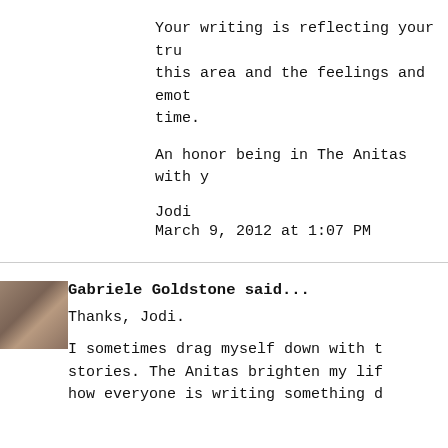Your writing is reflecting your tru this area and the feelings and emot time.
An honor being in The Anitas with y
Jodi
March 9, 2012 at 1:07 PM
Gabriele Goldstone said...
[Figure (photo): Small avatar photo of Gabriele Goldstone, showing a person with short light hair]
Thanks, Jodi.
I sometimes drag myself down with t stories. The Anitas brighten my lif how everyone is writing something d